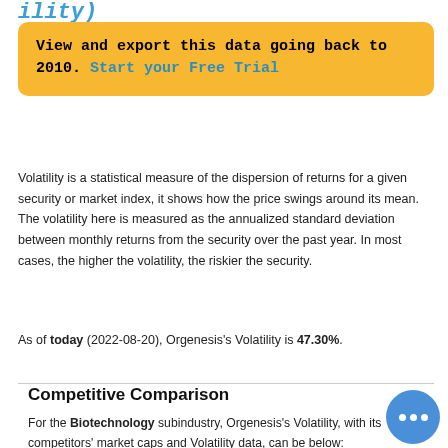ility)
View and export this data going back to 2010. Start your Free Trial
Volatility is a statistical measure of the dispersion of returns for a given security or market index, it shows how the price swings around its mean. The volatility here is measured as the annualized standard deviation between monthly returns from the security over the past year. In most cases, the higher the volatility, the riskier the security.
As of today (2022-08-20), Orgenesis's Volatility is 47.30%.
Competitive Comparison
For the Biotechnology subindustry, Orgenesis's Volatility, with its competitors' market caps and Volatility data, can be below: